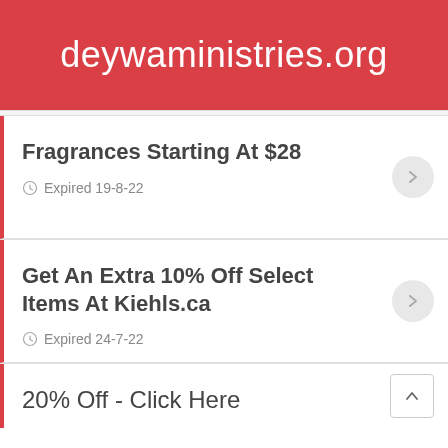deywaministries.org
Fragrances Starting At $28
Expired 19-8-22
Get An Extra 10% Off Select Items At Kiehls.ca
Expired 24-7-22
20% Off - Click Here